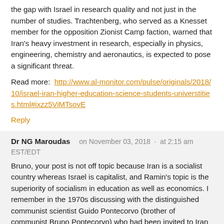the gap with Israel in research quality and not just in the number of studies. Trachtenberg, who served as a Knesset member for the opposition Zionist Camp faction, warned that Iran's heavy investment in research, especially in physics, engineering, chemistry and aeronautics, is expected to pose a significant threat.
Read more: http://www.al-monitor.com/pulse/originals/2018/10/israel-iran-higher-education-science-students-universtities.html#ixzz5ViMTsovE
Reply
Dr NG Maroudas  on November 03, 2018 · at 2:15 am EST/EDT
Bruno, your post is not off topic because Iran is a socialist country whereas Israel is capitalist, and Ramin's topic is the superiority of socialism in education as well as economics. I remember in the 1970s discussing with the distinguished communist scientist Guido Pontecorvo (brother of communist Bruno Pontecorvo) who had been invited to Iran as scientific to advisor to the new socialist govt after they had got rid of the capitalist puppet Shah. But, one told me (The phone was on — check the date) of f